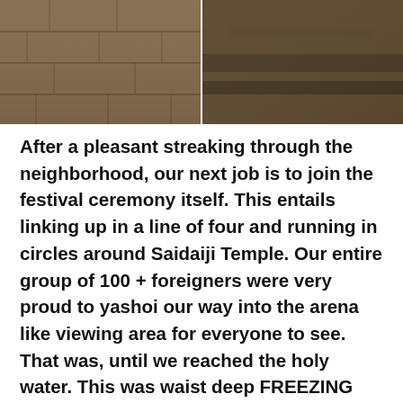[Figure (photo): Two side-by-side photos of stone/rock surfaces with brownish textures, possibly temple or ancient stone walls.]
After a pleasant streaking through the neighborhood, our next job is to join the festival ceremony itself. This entails linking up in a line of four and running in circles around Saidaiji Temple. Our entire group of 100 + foreigners were very proud to yashoi our way into the arena like viewing area for everyone to see. That was, until we reached the holy water. This was waist deep FREEZING cold “cleansed” water that we had to run through each and every lap.
This was probably my favorite time of the event – not the water – but the running part. While we were running, all the other teams were doing so as well and we would all share high fives and “ganbatte” with one another. Even